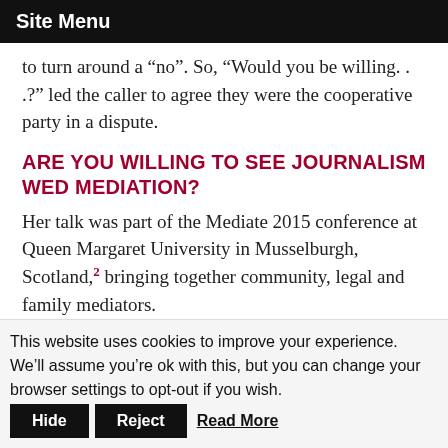Site Menu
to turn around a “no”. So, “Would you be willing. . .?” led the caller to agree they were the cooperative party in a dispute.
ARE YOU WILLING TO SEE JOURNALISM WED MEDIATION?
Her talk was part of the Mediate 2015 conference at Queen Margaret University in Musselburgh, Scotland,² bringing together community, legal and family mediators.
Once people do end up in mediation, their desires and needs in the process can become quite divorced from those representing them, specifically lawyers, said Dr Tamara
This website uses cookies to improve your experience. We’ll assume you’re ok with this, but you can change your browser settings to opt-out if you wish.